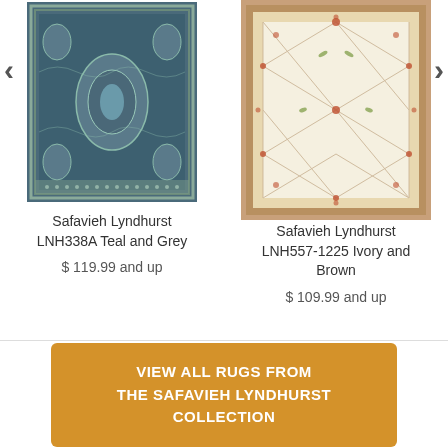[Figure (photo): Teal and grey Persian-style area rug with ornate medallion pattern]
Safavieh Lyndhurst LNH338A Teal and Grey
$ 119.99 and up
[Figure (photo): Ivory and brown floral lattice area rug with decorative border]
Safavieh Lyndhurst LNH557-1225 Ivory and Brown
$ 109.99 and up
VIEW ALL RUGS FROM THE SAFAVIEH LYNDHURST COLLECTION